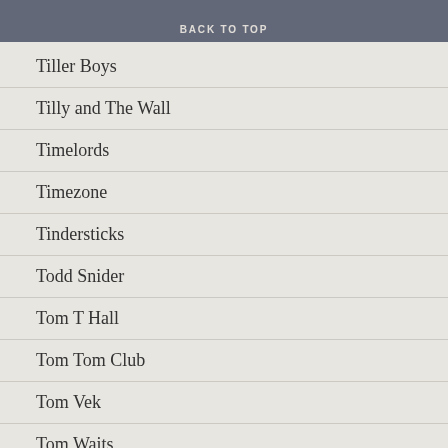BACK TO TOP
Tiller Boys
Tilly and The Wall
Timelords
Timezone
Tindersticks
Todd Snider
Tom T Hall
Tom Tom Club
Tom Vek
Tom Waits
Tony Wilson
Top Gigs of 2013
Townes Van Zandt